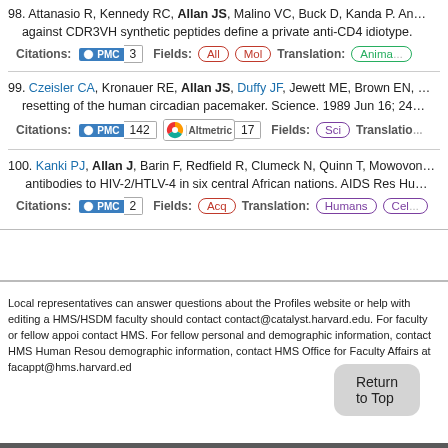98. Attanasio R, Kennedy RC, Allan JS, Malino VC, Buck D, Kanda P. Antibodies against CDR3VH synthetic peptides define a private anti-CD4 idiotype. Citations: PMC 3 Fields: All Mol Translation: Animal
99. Czeisler CA, Kronauer RE, Allan JS, Duffy JF, Jewett ME, Brown EN. resetting of the human circadian pacemaker. Science. 1989 Jun 16; 24. Citations: PMC 142 Altmetric 17 Fields: Sci Translation:
100. Kanki PJ, Allan J, Barin F, Redfield R, Clumeck N, Quinn T, Mowovond... antibodies to HIV-2/HTLV-4 in six central African nations. AIDS Res Hu. Citations: PMC 2 Fields: Acq Translation: Humans Cel
Local representatives can answer questions about the Profiles website or help with editing a HMS/HSDM faculty should contact contact@catalyst.harvard.edu. For faculty or fellow appoi contact HMS. For fellow personal and demographic information, contact HMS Human Resou demographic information, contact HMS Office for Faculty Affairs at facappt@hms.harvard.ed
Return to Top